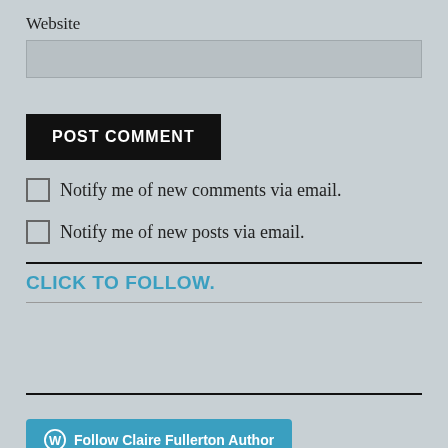Website
POST COMMENT
Notify me of new comments via email.
Notify me of new posts via email.
CLICK TO FOLLOW.
Follow Claire Fullerton Author
MOURNING DOVE